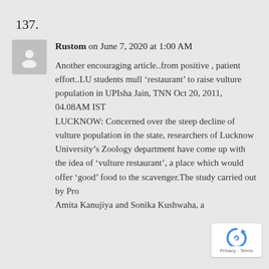137.
Rustom on June 7, 2020 at 1:00 AM
Another encouraging article..from positive , patient effort..LU students mull ‘restaurant’ to raise vulture population in UPIsha Jain, TNN Oct 20, 2011, 04.08AM IST LUCKNOW: Concerned over the steep decline of vulture population in the state, researchers of Lucknow University’s Zoology department have come up with the idea of ‘vulture restaurant’, a place which would offer ‘good’ food to the scavenger.The study carried out by Pro Amita Kanujiya and Sonika Kushwaha, a
[Figure (logo): reCAPTCHA badge with Privacy - Terms text]